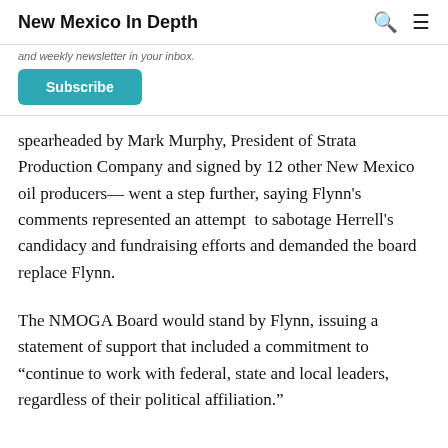New Mexico In Depth
and weekly newsletter in your inbox.
Subscribe
spearheaded by Mark Murphy, President of Strata Production Company and signed by 12 other New Mexico oil producers— went a step further, saying Flynn's comments represented an attempt  to sabotage Herrell's candidacy and fundraising efforts and demanded the board replace Flynn.
The NMOGA Board would stand by Flynn, issuing a statement of support that included a commitment to “continue to work with federal, state and local leaders, regardless of their political affiliation.”